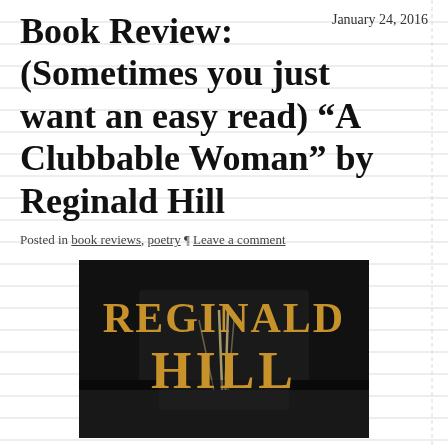January 24, 2016
Book Review: (Sometimes you just want an easy read) “A Clubbable Woman” by Reginald Hill
Posted in book reviews, poetry ¶ Leave a comment
[Figure (photo): Book cover showing 'REGINALD HILL' in large gold/orange letters on a dark background with light streaks]